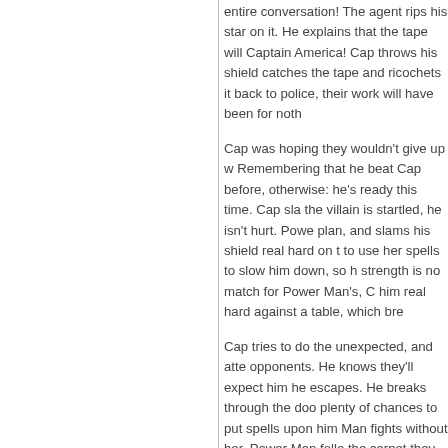entire conversation! The agent rips his star on it. He explains that the tape will Captain America! Cap throws his shield catches the tape and ricochets it back to police, their work will have been for noth
Cap was hoping they wouldn't give up w Remembering that he beat Cap before, otherwise: he's ready this time. Cap sla the villain is startled, he isn't hurt. Powe plan, and slams his shield real hard on t to use her spells to slow him down, so h strength is no match for Power Man's, C him real hard against a table, which bre
Cap tries to do the unexpected, and atte opponents. He knows they'll expect him he escapes. He breaks through the doo plenty of chances to put spells upon him Man fights without her. Power Man follo the carpet they stand on and whirls it ar Cap his chance to escape!